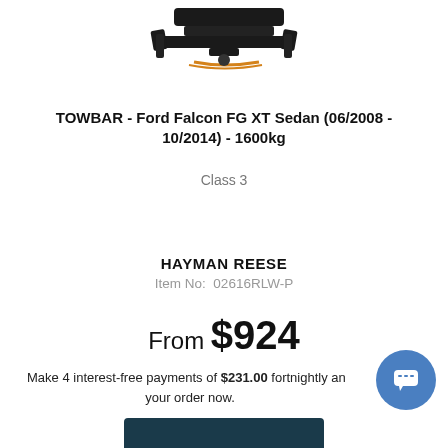[Figure (photo): Product photo of a towbar hitch receiver, black metal with orange accents, shown from above on white background]
TOWBAR - Ford Falcon FG XT Sedan (06/2008 - 10/2014) - 1600kg
Class 3
HAYMAN REESE
Item No: 02616RLW-P
From $924
Make 4 interest-free payments of $231.00 fortnightly and your order now.